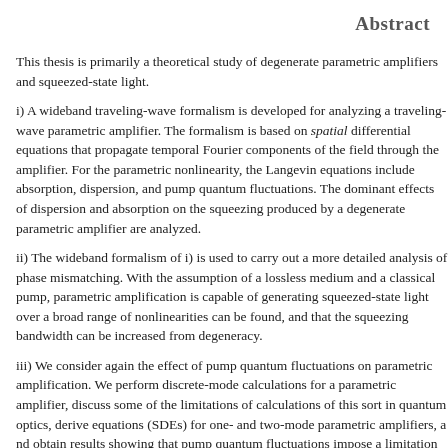Abstract
This thesis is primarily a theoretical study of degenerate parametric amplifiers and squeezed-state light.
i) A wideband traveling-wave formalism is developed for analyzing a traveling-wave parametric amplifier. The formalism is based on spatial differential equations that propagate temporal Fourier components of the field through the amplifier. For the parametric nonlinearity, the Langevin equations include absorption, dispersion, and pump quantum fluctuations. The dominant effects of dispersion and absorption on the squeezing produced by a degenerate parametric amplifier are analyzed.
ii) The wideband formalism of i) is used to carry out a more detailed analysis of phase mismatching. With the assumption of a lossless medium and a classical pump, parametric amplification is capable of generating squeezed-state light over a broad range of nonlinearities can be found, and that the squeezing bandwidth can be increased away from degeneracy.
iii) We consider again the effect of pump quantum fluctuations on parametric amplification. We perform discrete-mode calculations for a parametric amplifier, discuss some of the limitations of calculations of this sort in quantum optics, derive equations (SDEs) for one- and two-mode parametric amplifiers, and obtain results showing that pump quantum fluctuations impose a limitation on the squeezing of a parametric amplifier.
iv) A possible application of squeezing is considered; in particular, the reduction of intracavity noise in a laser oscillator. We solve the classical noise equations and hold... and possibly unrealizable... assumption, that the in-phase...